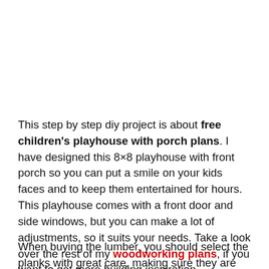This step by step diy project is about free children's playhouse with porch plans. I have designed this 8×8 playhouse with front porch so you can put a smile on your kids faces and to keep them entertained for hours. This playhouse comes with a front door and side windows, but you can make a lot of adjustments, so it suits your needs. Take a look over the rest of my woodworking plans, if you want to get more building inspiration.
When buying the lumber, you should select the planks with great care, making sure they are straight and without any